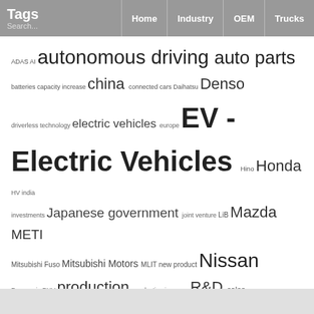Tags | Search... | Home | Industry | OEM | Trucks
[Figure (other): Tag cloud featuring automotive industry keywords sized by frequency/importance. Tags include: ADAS, AI, autonomous driving, auto parts, batteries, capacity increase, china, connected cars, Daihatsu, Denso, driverless technology, electric vehicles, europe, EV - Electric Vehicles, Hino, Honda, HV, india, investments, Japanese government, joint venture, LiB, Mazda, METI, Mitsubishi Fuso, Mitsubishi Motors, MLIT, new product, Nissan, Panasonic, PHV, production, production increase, R&D, sales, self-driving cars, self-driving vehicles, sensors, Softbank, Subaru, Suzuki, Toyota, trucks, U.S., verification testing]